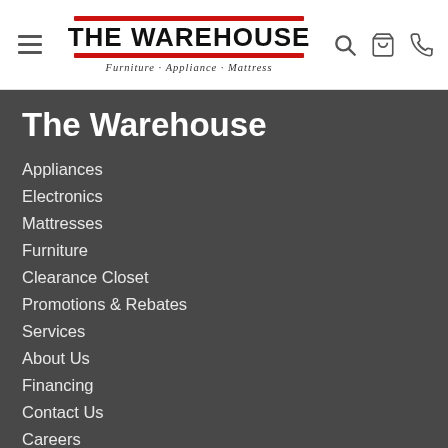The Warehouse — Furniture · Appliance · Mattress (header/logo bar)
The Warehouse
Appliances
Electronics
Mattresses
Furniture
Clearance Closet
Promotions & Rebates
Services
About Us
Financing
Contact Us
Careers